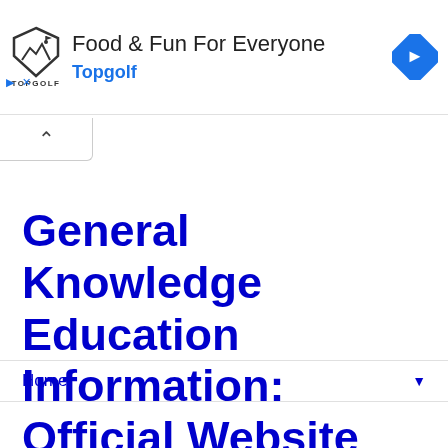[Figure (infographic): Topgolf advertisement banner with logo, 'Food & Fun For Everyone' headline, 'Topgolf' blue subtext, and a blue diamond navigation arrow icon on the right]
General Knowledge Education Information: Official Website
Home